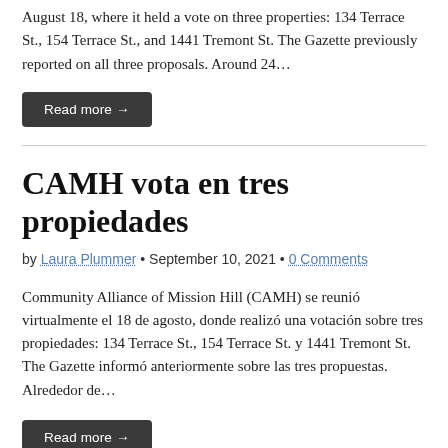August 18, where it held a vote on three properties: 134 Terrace St., 154 Terrace St., and 1441 Tremont St. The Gazette previously reported on all three proposals. Around 24…
Read more →
CAMH vota en tres propiedades
by Laura Plummer • September 10, 2021 • 0 Comments
Community Alliance of Mission Hill (CAMH) se reunió virtualmente el 18 de agosto, donde realizó una votación sobre tres propiedades: 134 Terrace St., 154 Terrace St. y 1441 Tremont St. The Gazette informó anteriormente sobre las tres propuestas. Alrededor de…
Read more →